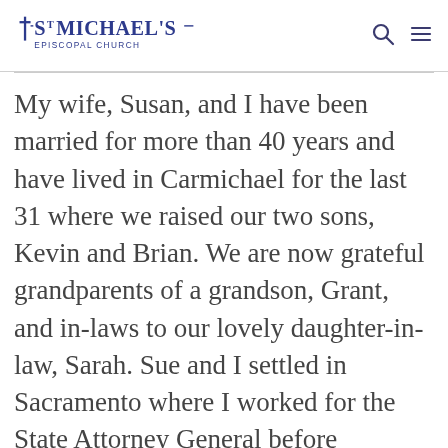St Michael's Episcopal Church
My wife, Susan, and I have been married for more than 40 years and have lived in Carmichael for the last 31 where we raised our two sons, Kevin and Brian. We are now grateful grandparents of a grandson, Grant, and in-laws to our lovely daughter-in-law, Sarah. Sue and I settled in Sacramento where I worked for the State Attorney General before becoming a judge; first on